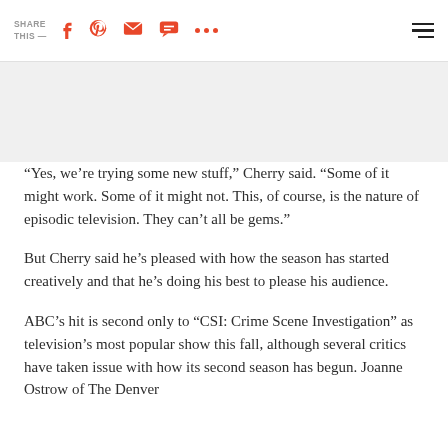SHARE THIS —
“Yes, we’re trying some new stuff,” Cherry said. “Some of it might work. Some of it might not. This, of course, is the nature of episodic television. They can’t all be gems.”
But Cherry said he’s pleased with how the season has started creatively and that he’s doing his best to please his audience.
ABC’s hit is second only to “CSI: Crime Scene Investigation” as television’s most popular show this fall, although several critics have taken issue with how its second season has begun. Joanne Ostrow of The Denver